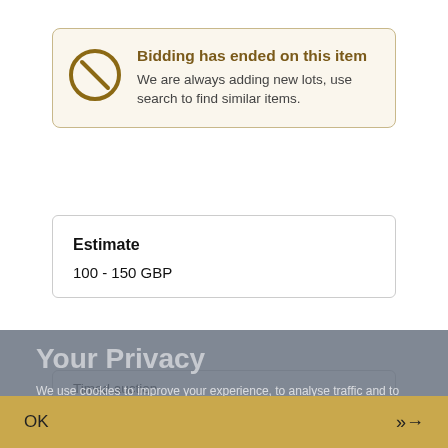Bidding has ended on this item
We are always adding new lots, use search to find similar items.
Estimate
100 - 150 GBP
Timed auction
Lot location   Newbury, Berkshire
Your Privacy
We use cookies to improve your experience, to analyse traffic and to show you relevant Dreweatts advertising. Should you not accept the use of cookies but choose to continue using the website your consent is implied to the use of cookies that are used for data analytical purposes.
Description
Auction details
Shipping
OK